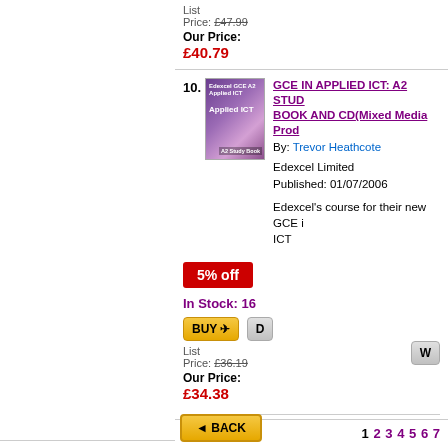List Price: £47.99
Our Price: £40.79
10. GCE IN APPLIED ICT: A2 STUDY BOOK AND CD (Mixed Media Product) By: Trevor Heathcote
Edexcel Limited
Published: 01/07/2006
Edexcel's course for their new GCE in Applied ICT
5% off
In Stock: 16
List Price: £36.19
Our Price: £34.38
1 2 3 4 5 6 7
◄ BACK